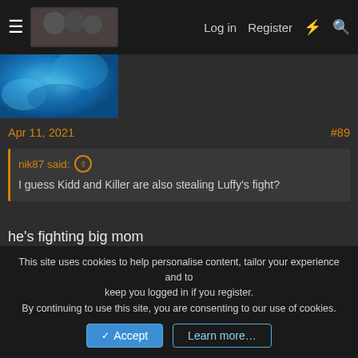Log in  Register
[Figure (photo): Blue abstract image, partial view at top left]
Apr 11, 2021   #89
nik87 said: ↑
I guess Kidd and Killer are also stealing Luffy's fight?
he's fighting big mom
nik87 said: ↑
Zoro isnt stealing Luffy's fight since it was never Luffy's fight.
Oda has clearly labeled it as Yonkos vs New Generation.
This site uses cookies to help personalise content, tailor your experience and to keep you logged in if you register.
By continuing to use this site, you are consenting to our use of cookies.